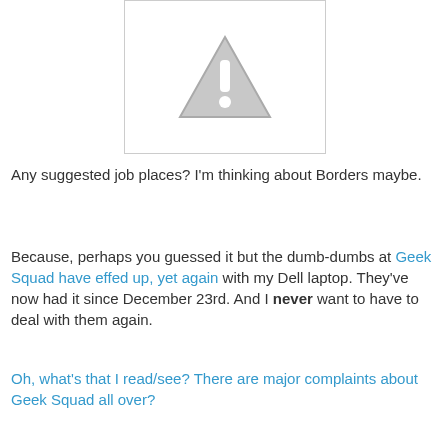[Figure (illustration): A grey warning/caution triangle icon with an exclamation mark, displayed inside a white bordered box.]
Any suggested job places? I'm thinking about Borders maybe.
Because, perhaps you guessed it but the dumb-dumbs at Geek Squad have effed up, yet again with my Dell laptop. They've now had it since December 23rd. And I never want to have to deal with them again.
Oh, what's that I read/see? There are major complaints about Geek Squad all over?